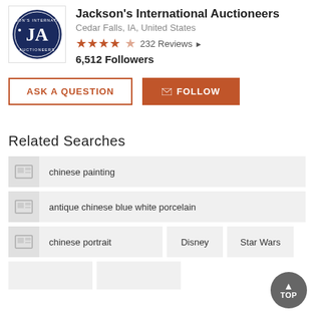[Figure (logo): Jackson's International Auctioneers circular logo with JA initials on dark navy blue background]
Jackson's International Auctioneers
Cedar Falls, IA, United States
★★★★½  232 Reviews ▶
6,512 Followers
ASK A QUESTION
✉ FOLLOW
Related Searches
chinese painting
antique chinese blue white porcelain
chinese portrait
Disney
Star Wars